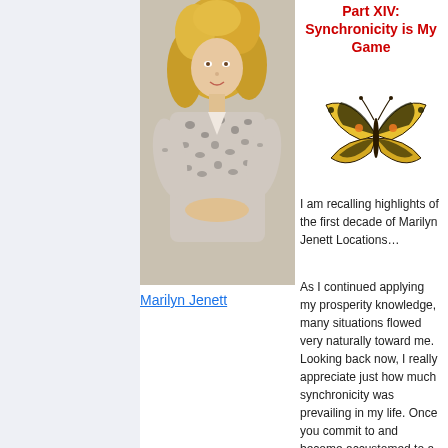[Figure (photo): Photo of Marilyn Jenett, a woman with blonde curly hair wearing a leopard print top, arms crossed]
Marilyn Jenett
Part XIV: Synchronicity is My Game
[Figure (illustration): Yellow and black butterfly illustration]
I am recalling highlights of the first decade of Marilyn Jenett Locations…
As I continued applying my prosperity knowledge, many situations flowed very naturally toward me. Looking back now, I really appreciate just how much synchronicity was prevailing in my life. Once you commit to and become accustomed to a